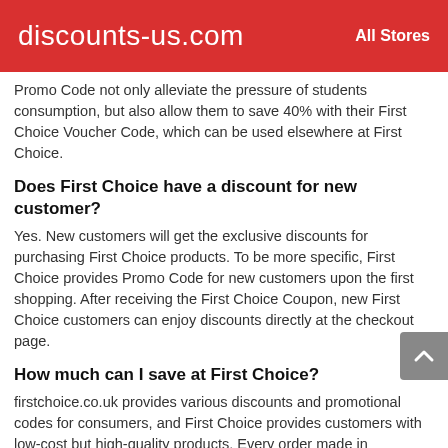discounts-us.com   All Stores
Promo Code not only alleviate the pressure of students consumption, but also allow them to save 40% with their First Choice Voucher Code, which can be used elsewhere at First Choice.
Does First Choice have a discount for new customer?
Yes. New customers will get the exclusive discounts for purchasing First Choice products. To be more specific, First Choice provides Promo Code for new customers upon the first shopping. After receiving the First Choice Coupon, new First Choice customers can enjoy discounts directly at the checkout page.
How much can I save at First Choice?
firstchoice.co.uk provides various discounts and promotional codes for consumers, and First Choice provides customers with low-cost but high-quality products. Every order made in firstchoice.co.uk can save $28, and It is worth mentioning that customers can enjoy Promo Code and product discounts found in firstchoice.co.uk at the same time!
What are the latest deals at First Choice?
discounts-us.com will update First Choice's latest offers and prices